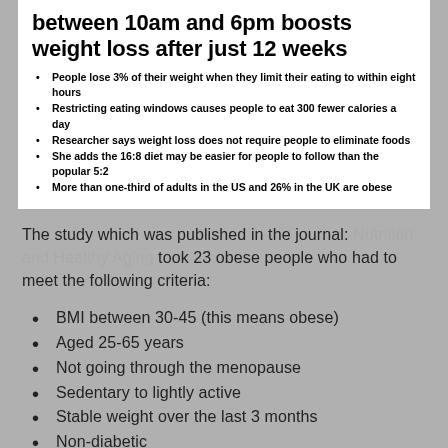between 10am and 6pm boosts weight loss after just 12 weeks
People lose 3% of their weight when they limit their eating to within eight hours
Restricting eating windows causes people to eat 300 fewer calories a day
Researcher says weight loss does not require people to eliminate foods
She adds the 16:8 diet may be easier for people to follow than the popular 5:2
More than one-third of adults in the US and 26% in the UK are obese
The study which was published in the journal: Nutrition and Healthy Aging took 23 obese people who had to meet the following criteria:
BMI between 30-45 (this means obese)
Aged 25-65 years
Not going through the menopause
Sedentary to lightly active
Stable weight over the last 3 months
Non-diabetic
No history of heart disease or stroke
Non-smoker